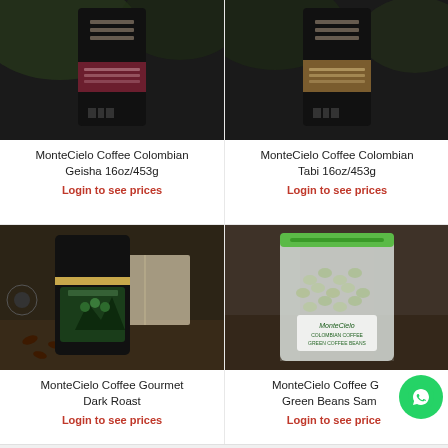[Figure (photo): MonteCielo Coffee Colombian Geisha 16oz/453g product bag, dark packaging with maroon label]
MonteCielo Coffee Colombian Geisha 16oz/453g
Login to see prices
[Figure (photo): MonteCielo Coffee Colombian Tabi 16oz/453g product bag, dark packaging]
MonteCielo Coffee Colombian Tabi 16oz/453g
Login to see prices
[Figure (photo): MonteCielo Coffee Gourmet Dark Roast black bag with green label showing coffee cherries]
MonteCielo Coffee Gourmet Dark Roast
Login to see prices
[Figure (photo): MonteCielo Coffee Green Beans Sample in clear silver zip bag with green zipper]
MonteCielo Coffee Green Beans Sample
Login to see prices